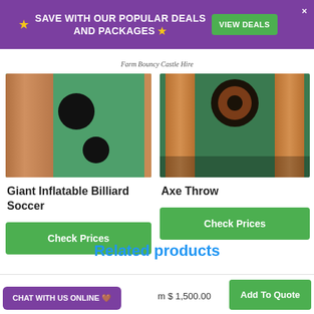★ SAVE WITH OUR POPULAR DEALS AND PACKAGES ★ VIEW DEALS
Farm Bouncy Castle Hire
[Figure (photo): Giant Inflatable Billiard Soccer - brown bumper sides with green felt and black holes]
Giant Inflatable Billiard Soccer
Check Prices
[Figure (photo): Axe Throw inflatable game - wooden lane sides with bullseye target at the top and green floor]
Axe Throw
Check Prices
Related products
m $ 1,500.00
Add To Quote
CHAT WITH US ONLINE 🤎